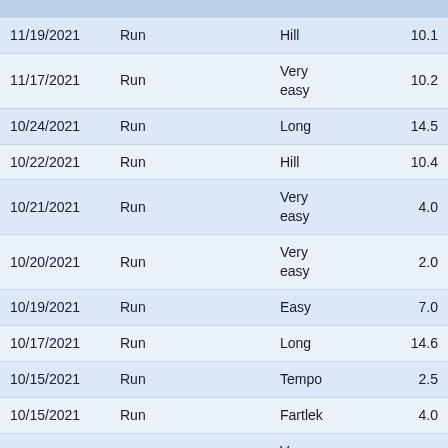| Date | Type |  | Workout Type | Value |
| --- | --- | --- | --- | --- |
| 11/19/2021 | Run |  | Hill | 10.1 |
| 11/17/2021 | Run |  | Very easy | 10.2 |
| 10/24/2021 | Run |  | Long | 14.5 |
| 10/22/2021 | Run |  | Hill | 10.4 |
| 10/21/2021 | Run |  | Very easy | 4.0 |
| 10/20/2021 | Run |  | Very easy | 2.0 |
| 10/19/2021 | Run |  | Easy | 7.0 |
| 10/17/2021 | Run |  | Long | 14.6 |
| 10/15/2021 | Run |  | Tempo | 2.5 |
| 10/15/2021 | Run |  | Fartlek | 4.0 |
| 10/13/2021 | Run |  | Very easy | 8.5 |
| 9/12/2021 | Run |  | Aerobic | 7.5 |
| 9/10/2021 | Run |  | Very | 1.5 |